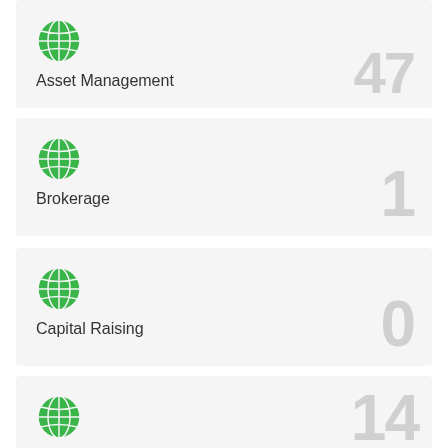[Figure (infographic): Green globe icon for Asset Management card]
Asset Management
47
[Figure (infographic): Green globe icon for Brokerage card]
Brokerage
1
[Figure (infographic): Green globe icon for Capital Raising card]
Capital Raising
0
[Figure (infographic): Green globe icon for Construction card]
Construction
14